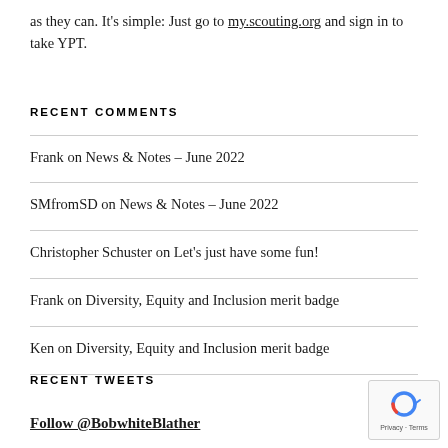as they can. It's simple: Just go to my.scouting.org and sign in to take YPT.
RECENT COMMENTS
Frank on News & Notes – June 2022
SMfromSD on News & Notes – June 2022
Christopher Schuster on Let's just have some fun!
Frank on Diversity, Equity and Inclusion merit badge
Ken on Diversity, Equity and Inclusion merit badge
RECENT TWEETS
Follow @BobwhiteBlather